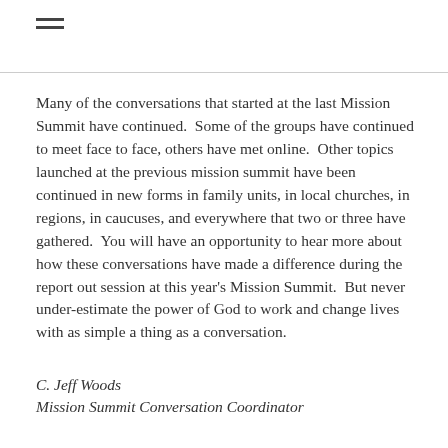≡
Many of the conversations that started at the last Mission Summit have continued.  Some of the groups have continued to meet face to face, others have met online.  Other topics launched at the previous mission summit have been continued in new forms in family units, in local churches, in regions, in caucuses, and everywhere that two or three have gathered.  You will have an opportunity to hear more about how these conversations have made a difference during the report out session at this year's Mission Summit.  But never under-estimate the power of God to work and change lives with as simple a thing as a conversation.
C. Jeff Woods
Mission Summit Conversation Coordinator